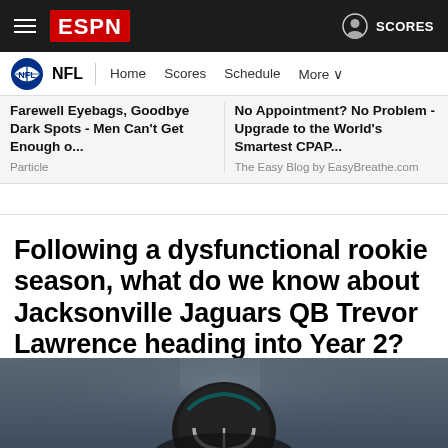ESPN — NFL | Home | Scores | Schedule | More | SCORES
Farewell Eyebags, Goodbye Dark Spots - Men Can't Get Enough o... — Particle
No Appointment? No Problem - Upgrade to the World's Smartest CPAP... — The Easy Blog by EasyBreathe.com
Following a dysfunctional rookie season, what do we know about Jacksonville Jaguars QB Trevor Lawrence heading into Year 2?
[Figure (photo): Photo of a Jacksonville Jaguars player wearing a helmet, partially visible at the bottom of the page]